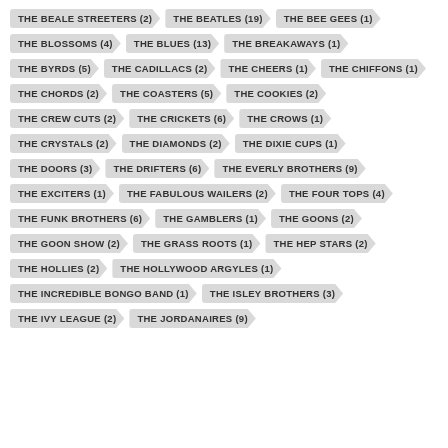THE BEALE STREETERS (2)
THE BEATLES (19)
THE BEE GEES (1)
THE BLOSSOMS (4)
THE BLUES (13)
THE BREAKAWAYS (1)
THE BYRDS (5)
THE CADILLACS (2)
THE CHEERS (1)
THE CHIFFONS (1)
THE CHORDS (2)
THE COASTERS (5)
THE COOKIES (2)
THE CREW CUTS (2)
THE CRICKETS (6)
THE CROWS (1)
THE CRYSTALS (2)
THE DIAMONDS (2)
THE DIXIE CUPS (1)
THE DOORS (3)
THE DRIFTERS (6)
THE EVERLY BROTHERS (9)
THE EXCITERS (1)
THE FABULOUS WAILERS (2)
THE FOUR TOPS (4)
THE FUNK BROTHERS (6)
THE GAMBLERS (1)
THE GOONS (2)
THE GOON SHOW (2)
THE GRASS ROOTS (1)
THE HEP STARS (2)
THE HOLLIES (2)
THE HOLLYWOOD ARGYLES (1)
THE INCREDIBLE BONGO BAND (1)
THE ISLEY BROTHERS (3)
THE IVY LEAGUE (2)
THE JORDANAIRES (9)